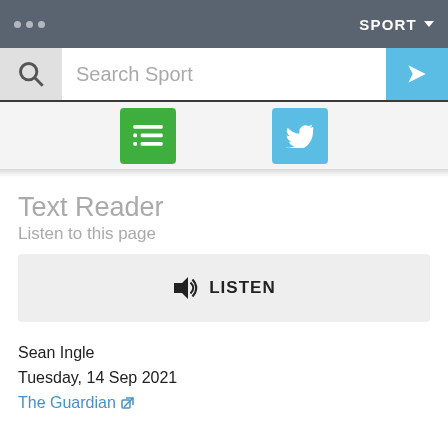... SPORT ▾
[Figure (screenshot): Search bar with magnifying glass icon, 'Search Sport' placeholder text, and blue arrow button on the right]
[Figure (screenshot): Icon row with green list icon and blue Twitter bird icon]
Text Reader
Listen to this page
[Figure (screenshot): Gray listen button with speaker icon and LISTEN label]
Sean Ingle
Tuesday, 14 Sep 2021
The Guardian